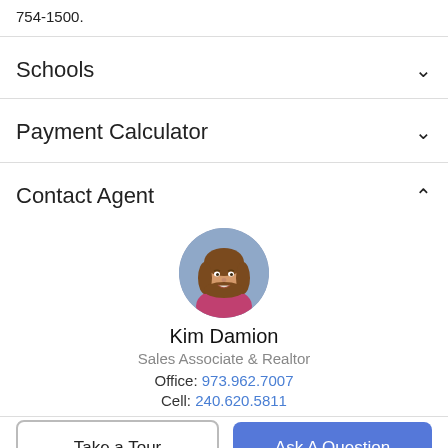754-1500.
Schools
Payment Calculator
Contact Agent
[Figure (photo): Circular profile photo of real estate agent Kim Damion, a woman with shoulder-length brown hair, smiling, wearing a pink top, against a blue-grey background.]
Kim Damion
Sales Associate & Realtor
Office: 973.962.7007
Cell: 240.620.5811
Take a Tour
Ask A Question